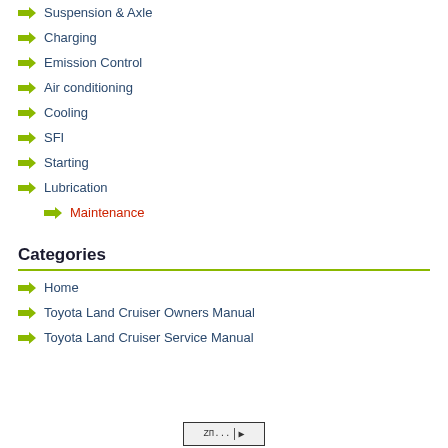Suspension & Axle
Charging
Emission Control
Air conditioning
Cooling
SFI
Starting
Lubrication
Maintenance
Categories
Home
Toyota Land Cruiser Owners Manual
Toyota Land Cruiser Service Manual